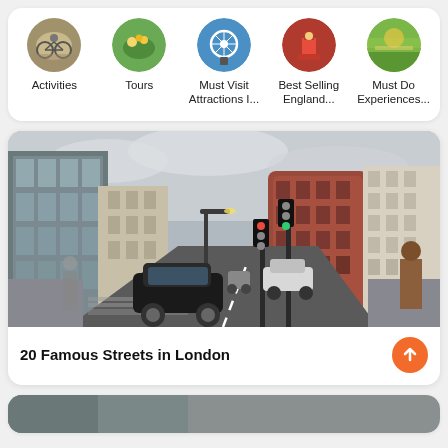[Figure (infographic): Row of 5 circular category icons with labels: Activities, Tours, Must Visit Attractions I..., Best Selling England..., Must Do Experiences...]
Activities
Tours
Must Visit Attractions I...
Best Selling England...
Must Do Experiences...
[Figure (photo): Street photo of a busy London street with cars, traffic lights, red-brick buildings, and pedestrians under a cloudy sky.]
20 Famous Streets in London